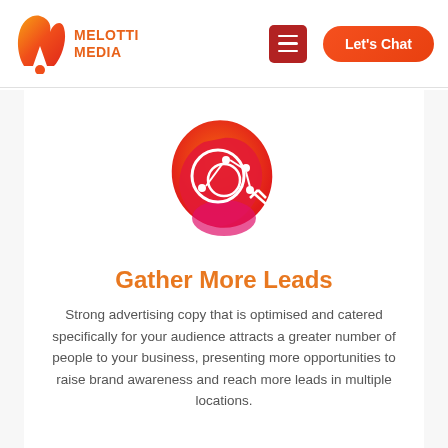[Figure (logo): Melotti Media logo with stylized orange M letter and MELOTTI MEDIA text]
Let's Chat
[Figure (illustration): Abstract blob-shaped icon with red-orange gradient background and white network/share icon in the center]
Gather More Leads
Strong advertising copy that is optimised and catered specifically for your audience attracts a greater number of people to your business, presenting more opportunities to raise brand awareness and reach more leads in multiple locations.